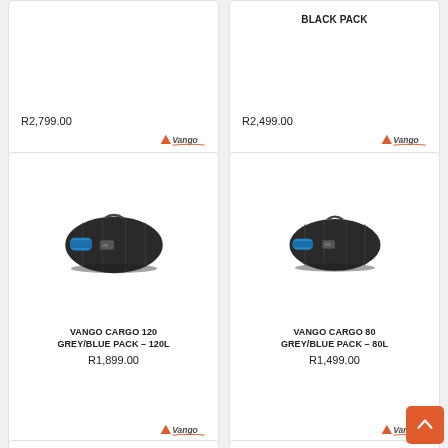[Figure (photo): Vango cargo bag black pack product card (partial top) with price R2,799.00 and Vango logo]
[Figure (photo): Vango black pack product card (partial top) labeled BLACK PACK with price R2,499.00 and Vango logo]
[Figure (photo): Vango Cargo 120 Grey/Blue Pack duffel bag image, black with blue handles]
VANGO CARGO 120 GREY/BLUE PACK – 120L
R1,899.00
[Figure (logo): Vango brand logo]
[Figure (photo): Vango Cargo 80 Grey/Blue Pack duffel bag image, black with blue handles]
VANGO CARGO 80 GREY/BLUE PACK – 80L
R1,499.00
[Figure (logo): Vango brand logo]